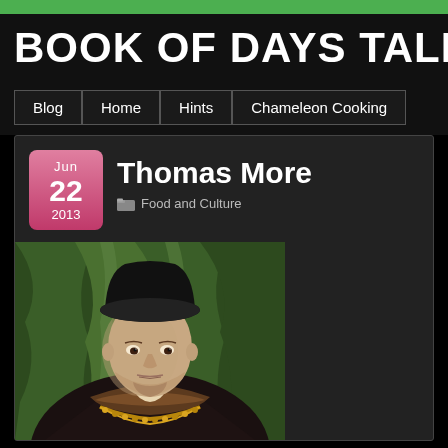BOOK OF DAYS TALES
BOOK OF DAYS TALES
Blog
Home
Hints
Chameleon Cooking
Thomas More
Jun 22 2013
Food and Culture
[Figure (photo): Portrait painting of Thomas More, a man in a black hat and fur-trimmed robe with a chain of office, against a green draped background]